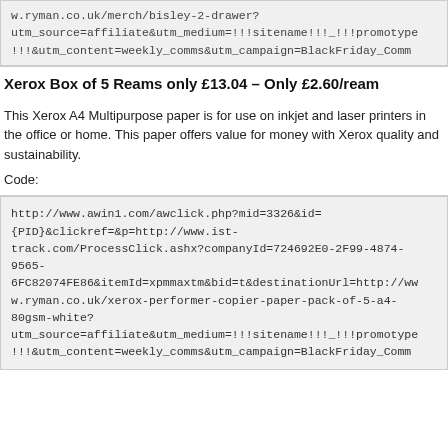w.ryman.co.uk/merch/bisley-2-drawer?utm_source=affiliate&utm_medium=!!!sitename!!!_!!!promotype!!!&utm_content=weekly_comms&utm_campaign=BlackFriday_Comm
Xerox Box of 5 Reams only £13.04 – Only £2.60/ream
This Xerox A4 Multipurpose paper is for use on inkjet and laser printers in the office or home. This paper offers value for money with Xerox quality and sustainability.
Code:
http://www.awin1.com/awclick.php?mid=3326&id={PID}&clickref=&p=http://www.ist-track.com/ProcessClick.ashx?companyId=724692E0-2F99-4874-9565-6FC82074FE86&itemId=xpmmaxtm&bid=t&destinationUrl=http://www.ryman.co.uk/xerox-performer-copier-paper-pack-of-5-a4-80gsm-white?utm_source=affiliate&utm_medium=!!!sitename!!!_!!!promotype!!!&utm_content=weekly_comms&utm_campaign=BlackFriday_Comm